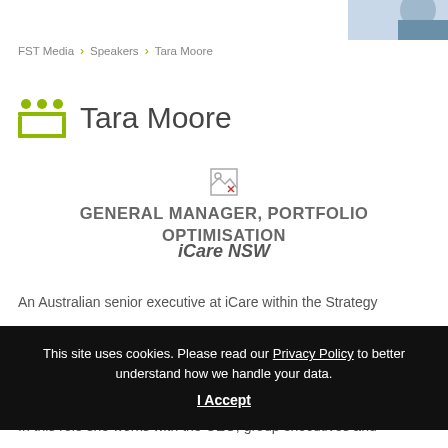[Figure (photo): Partial photo of a person in the upper right corner]
FST Media > Speakers > Tara Moore
Tara Moore
[Figure (illustration): Small broken image icon placeholder for a profile photo]
GENERAL MANAGER, PORTFOLIO OPTIMISATION
iCare NSW
An Australian senior executive at iCare within the Strategy
This site uses cookies. Please read our Privacy Policy to better understand how we handle your data.
I Accept
In this role she works with the CEO, group executives and